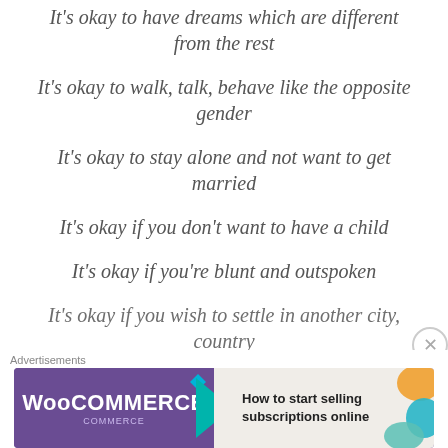It's okay to have dreams which are different from the rest
It's okay to walk, talk, behave like the opposite gender
It's okay to stay alone and not want to get married
It's okay if you don't want to have a child
It's okay if you're blunt and outspoken
It's okay if you wish to settle in another city, country
[Figure (screenshot): WooCommerce advertisement banner: 'How to start selling subscriptions online']